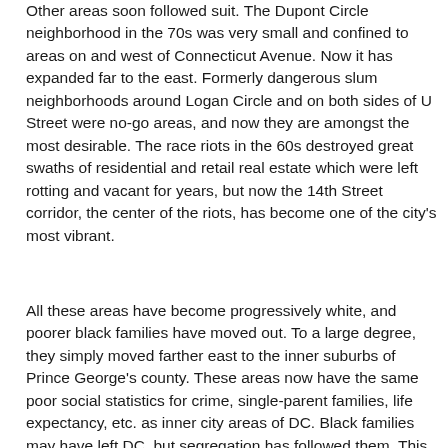Other areas soon followed suit. The Dupont Circle neighborhood in the 70s was very small and confined to areas on and west of Connecticut Avenue.  Now it has expanded far to the east.  Formerly dangerous slum neighborhoods around Logan Circle and on both sides of U Street were no-go areas, and now they are amongst the most desirable. The race riots in the 60s destroyed great swaths of residential and retail real estate which were left rotting and vacant for years, but now the 14th Street corridor, the center of the riots, has become one of the city's most vibrant.
All these areas have become progressively white, and poorer black families have moved out.  To a large degree, they simply moved farther east to the inner suburbs of Prince George's county.  These areas now have the same poor social statistics for crime, single-parent families, life expectancy, etc. as inner city areas of DC. Black families may have left DC, but segregation has followed them.  This exodus was more of a forced migration, and thus the the PG statistics are not surprising.  Many of Washington's successful middle-class blacks (Washington has always had one of the country's highest concentrations of this group) have